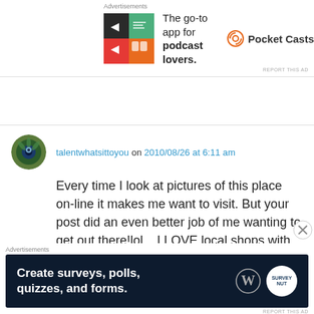[Figure (screenshot): Top advertisement banner for Pocket Casts app with colorful tiles icon, text 'The go-to app for podcast lovers.' and Pocket Casts logo]
talentwhatsittoyou on 2010/08/26 at 6:11 am
Every time I look at pictures of this place on-line it makes me want to visit. But your post did an even better job of me wanting to get out there!lol....I LOVE local shops with cool and unique stuff, and who in the states would have cool screen print tees as the ones you posted!? LOL....Keep the post coming...where are you going to next?
[Figure (screenshot): Bottom advertisement banner for creating surveys, polls, quizzes, and forms with WordPress and SurveyNuts logos on dark navy background]